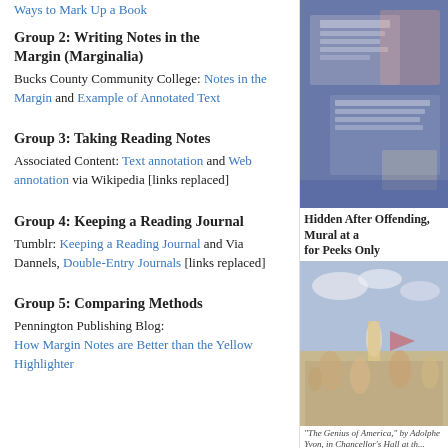Ways to Mark Up a Book
Group 2: Writing Notes in the Margin (Marginalia)
Bucks County Community College: Notes in the Margin and Example of Annotated Text
Group 3: Taking Reading Notes
Associated Content: Text annotation and Web annotation via Wikipedia [links replaced]
Group 4: Keeping a Reading Journal
Tumblr: Keeping a Reading Journal and Via Dannels, Double-Entry Journals [links replaced]
Group 5: Comparing Methods
Pennington Publishing Blog: How Margin Notes are Better than the Yellow Highlighter
[Figure (photo): Photo of handwritten notes/manuscripts on paper, displayed on and around a laptop or tablet, blue-toned]
Hidden After Offending, Mural at a... for Peeks Only
[Figure (photo): Classical painting: The Genius of America by Adolphe Yvon, showing many figures in a large allegorical scene]
'The Genius of America,' by Adolphe Yvon, in Chancellor's Hall at th...
By JESSE McKINLEY
Published: February 26, 2013 | 261 Comments
ALBANY — For the last decade or so, one of New York's m... and controversial pieces of public art has been hiding, Co-l... big green curtain.
The work in question is a mural titled "The Genius o... ...hat begin...
Connect with NYTMetro
Follow us on Twitter